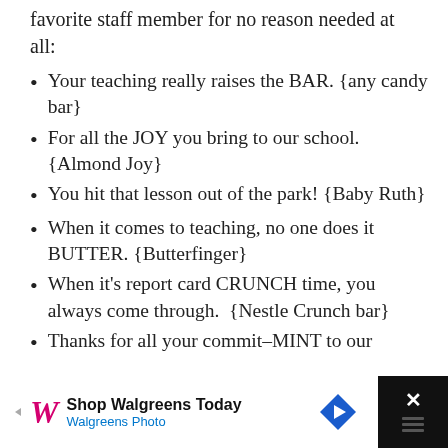favorite staff member for no reason needed at all:
Your teaching really raises the BAR. {any candy bar}
For all the JOY you bring to our school. {Almond Joy}
You hit that lesson out of the park! {Baby Ruth}
When it comes to teaching, no one does it BUTTER. {Butterfinger}
When it's report card CRUNCH time, you always come through.  {Nestle Crunch bar}
Thanks for all your commit-MINT to our
[Figure (other): Walgreens advertisement banner: 'Shop Walgreens Today / Walgreens Photo' with Walgreens cursive logo and navigation arrow icon, on dark background with close button]